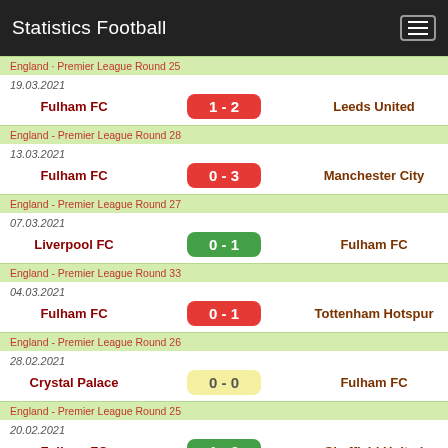Statistics Football
England - Premier League Round 25
19.03.2021
Fulham FC  1 - 2  Leeds United
England - Premier League Round 28
13.03.2021
Fulham FC  0 - 3  Manchester City
England - Premier League Round 27
07.03.2021
Liverpool FC  0 - 1  Fulham FC
England - Premier League Round 33
04.03.2021
Fulham FC  0 - 1  Tottenham Hotspur
England - Premier League Round 26
28.02.2021
Crystal Palace  0 - 0  Fulham FC
England - Premier League Round 25
20.02.2021
Fulham FC  1 - 0  Sheffield United